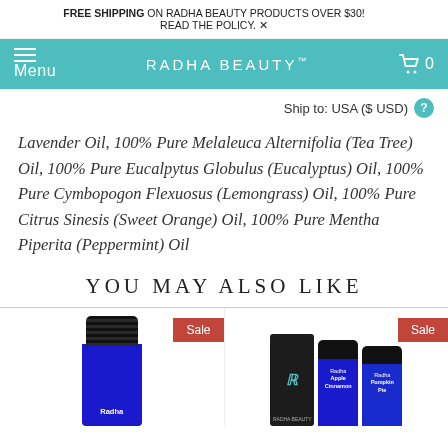FREE SHIPPING ON RADHA BEAUTY PRODUCTS OVER $30! READ THE POLICY.
Menu  RADHA BEAUTY™  0
Ship to: USA ($ USD)
Lavender Oil, 100% Pure Melaleuca Alternifolia (Tea Tree) Oil, 100% Pure Eucalpytus Globulus (Eucalyptus) Oil, 100% Pure Cymbopogon Flexuosus (Lemongrass) Oil, 100% Pure Citrus Sinesis (Sweet Orange) Oil, 100% Pure Mentha Piperita (Peppermint) Oil
YOU MAY ALSO LIKE
[Figure (photo): Product images: blue essential oil bottle (left), and two product sets with dark box and blue bottles labeled Radha Apple Cinnamon and Radha Pumpkin Pie, both with Sale badges]